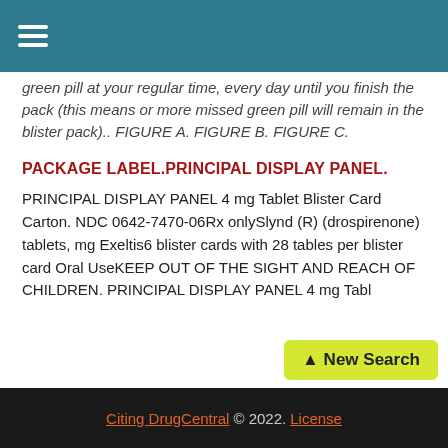[hamburger menu icon]
green pill at your regular time, every day until you finish the pack (this means or more missed green pill will remain in the blister pack).. FIGURE A. FIGURE B. FIGURE C.
PACKAGE LABEL.PRINCIPAL DISPLAY PANEL.
PRINCIPAL DISPLAY PANEL 4 mg Tablet Blister Card Carton. NDC 0642-7470-06Rx onlySlynd (R) (drospirenone) tablets, mg Exeltis6 blister cards with 28 tables per blister card Oral UseKEEP OUT OF THE SIGHT AND REACH OF CHILDREN. PRINCIPAL DISPLAY PANEL 4 mg Tabl
Citing DrugCentral © 2022. License